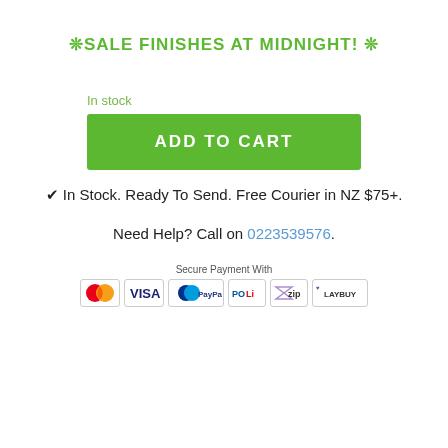❊SALE FINISHES AT MIDNIGHT! ❊
In stock
ADD TO CART
✔ In Stock. Ready To Send. Free Courier in NZ $75+.
Need Help? Call on 0223539576.
[Figure (other): Secure Payment With logos: MasterCard, Visa, PayPal, POLi, zip, LAYBUY]